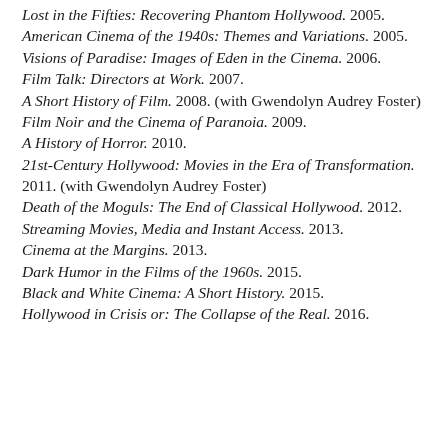Lost in the Fifties: Recovering Phantom Hollywood. 2005.
American Cinema of the 1940s: Themes and Variations. 2005.
Visions of Paradise: Images of Eden in the Cinema. 2006.
Film Talk: Directors at Work. 2007.
A Short History of Film. 2008. (with Gwendolyn Audrey Foster)
Film Noir and the Cinema of Paranoia. 2009.
A History of Horror. 2010.
21st-Century Hollywood: Movies in the Era of Transformation. 2011. (with Gwendolyn Audrey Foster)
Death of the Moguls: The End of Classical Hollywood. 2012.
Streaming Movies, Media and Instant Access. 2013.
Cinema at the Margins. 2013.
Dark Humor in the Films of the 1960s. 2015.
Black and White Cinema: A Short History. 2015.
Hollywood in Crisis or: The Collapse of the Real. 2016.